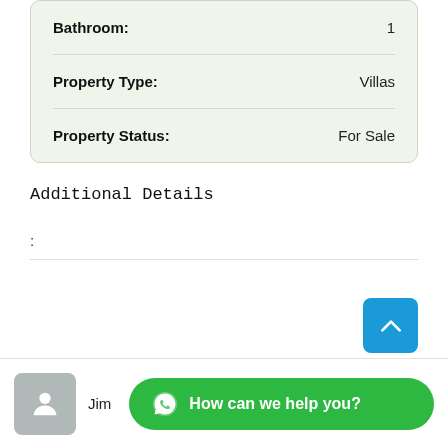| Field | Value |
| --- | --- |
| Bathroom: | 1 |
| Property Type: | Villas |
| Property Status: | For Sale |
Additional Details
:
Jim
How can we help you?